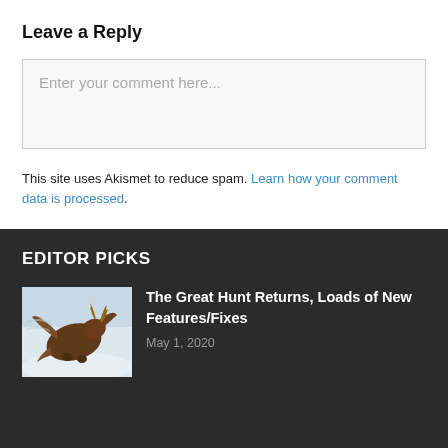Leave a Reply
Enter your comment here...
This site uses Akismet to reduce spam. Learn how your comment data is processed.
EDITOR PICKS
[Figure (photo): Thumbnail image of a fantasy creature, appears to be a dragon or griffon in a snowy scene]
The Great Hunt Returns, Loads of New Features/Fixes
May 1, 2020